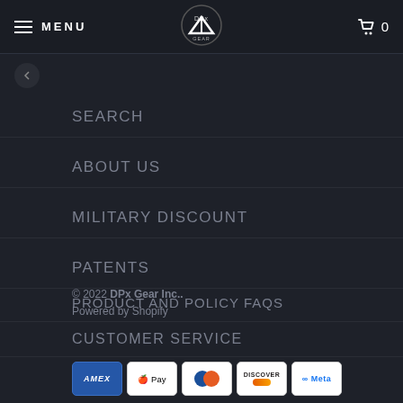MENU  [logo]  0
SEARCH
ABOUT US
MILITARY DISCOUNT
PATENTS
PRODUCT AND POLICY FAQS
CUSTOMER SERVICE
© 2022 DPx Gear Inc.. Powered by Shopify
[Figure (other): Payment method icons: American Express, Apple Pay, Diners Club, Discover, Meta Pay]